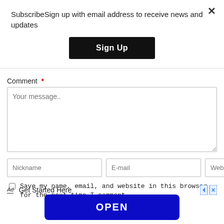SubscribeSign up with email address to receive news and updates
[Figure (screenshot): Black 'Sign Up' button in modal dialog]
Comment *
[Figure (screenshot): Comment textarea with placeholder 'Your message..']
[Figure (screenshot): Three input fields: Nickname, E-mail, Website]
Save my name, email, and website in this browser for the next time I comment.
Ad  Get Started Here
[Figure (screenshot): Blue 'OPEN' button in advertisement banner]